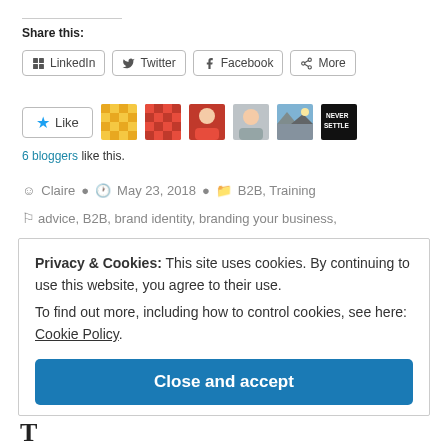Share this:
LinkedIn  Twitter  Facebook  More
[Figure (other): Like button with star icon and row of blogger avatars]
6 bloggers like this.
Claire   May 23, 2018   B2B, Training
advice, B2B, brand identity, branding your business,
Privacy & Cookies: This site uses cookies. By continuing to use this website, you agree to their use. To find out more, including how to control cookies, see here: Cookie Policy
Close and accept